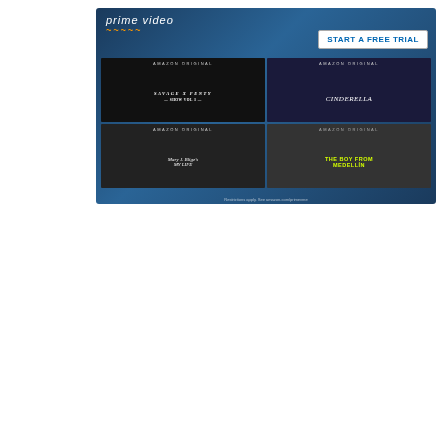[Figure (advertisement): Amazon Prime Video advertisement showing 'START A FREE TRIAL' button and four Amazon Original titles: Savage X Fenty Show Vol 3, Cinderella, Mary J. Blige's My Life, and The Boy from Medellin. Footer reads: Restrictions apply. See amazon.com/primevme]
[Figure (advertisement): VIBO care posture corrector advertisement on red background with diagonal black section. Text reads: REDUCE BACK PAIN with VIBO care posture corrector. Shop now button. Shows two people wearing posture corrector device.]